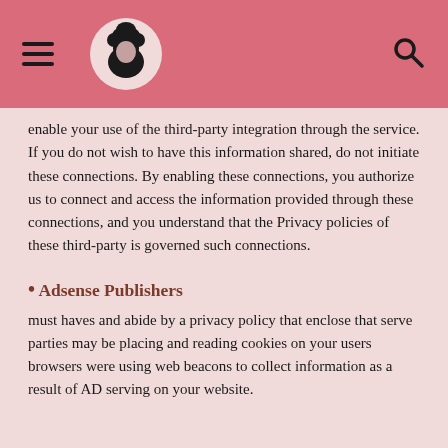[logo and navigation header]
enable your use of the third-party integration through the service. If you do not wish to have this information shared, do not initiate these connections. By enabling these connections, you authorize us to connect and access the information provided through these connections, and you understand that the Privacy policies of these third-party is governed such connections.
• Adsense Publishers
must haves and abide by a privacy policy that enclose that serve parties may be placing and reading cookies on your users browsers were using web beacons to collect information as a result of AD serving on your website.